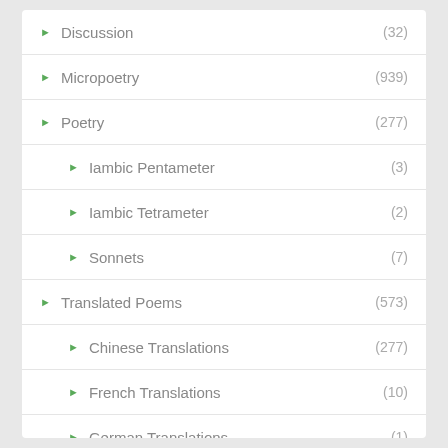Discussion (32)
Micropoetry (939)
Poetry (277)
Iambic Pentameter (3)
Iambic Tetrameter (2)
Sonnets (7)
Translated Poems (573)
Chinese Translations (277)
French Translations (10)
German Translations (1)